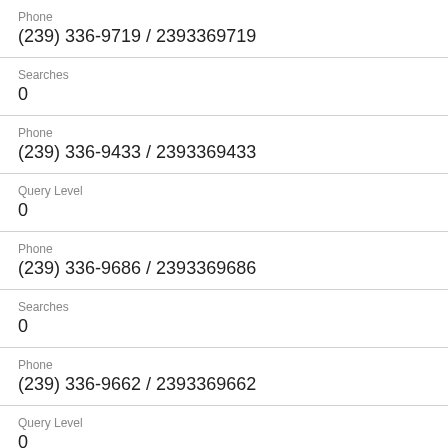Phone
(239) 336-9719 / 2393369719
Searches
0
Phone
(239) 336-9433 / 2393369433
Query Level
0
Phone
(239) 336-9686 / 2393369686
Searches
0
Phone
(239) 336-9662 / 2393369662
Query Level
0
Phone
(239) 336-9528 / 2393369528